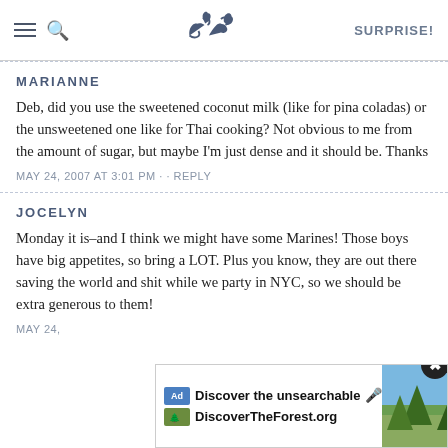SK — SURPRISE!
MARIANNE
Deb, did you use the sweetened coconut milk (like for pina coladas) or the unsweetened one like for Thai cooking? Not obvious to me from the amount of sugar, but maybe I'm just dense and it should be. Thanks
MAY 24, 2007 AT 3:01 PM · · REPLY
JOCELYN
Monday it is–and I think we might have some Marines! Those boys have big appetites, so bring a LOT. Plus you know, they are out there saving the world and shit while we party in NYC, so we should be extra generous to them!
MAY 24,
[Figure (screenshot): Advertisement banner: 'Discover the unsearchable — DiscoverTheForest.org' with forest photo and close button]